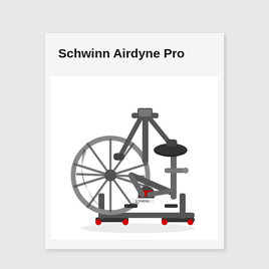Schwinn Airdyne Pro
[Figure (photo): Schwinn Airdyne Pro exercise air bike with large fan wheel on the left, movable handlebars, adjustable seat, and red accents on the pedal crank area. The bike is shown from a slight front-right angle on a white background.]